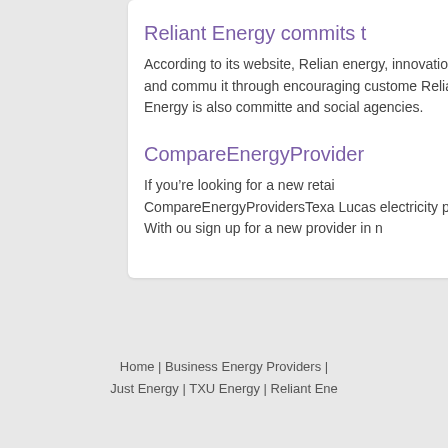Reliant Energy commits t
According to its website, Relian energy, innovation and commu it through encouraging custome Reliant Energy is also committe and social agencies.
CompareEnergyProvider
If you're looking for a new retai CompareEnergyProvidersTexa Lucas electricity plans. With ou sign up for a new provider in n
Home | Business Energy Providers | Just Energy | TXU Energy | Reliant Ene